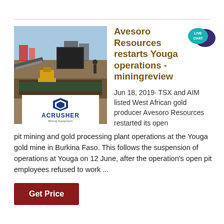[Figure (photo): Mining site photograph showing open pit mining equipment and processing plant infrastructure, with ACRUSHER Mining Equipment logo overlay at bottom center]
Avesoro Resources restarts Youga operations - miningreview
[Figure (illustration): LIVE CHAT speech bubble badge in teal and dark purple]
Jun 18, 2019· TSX and AIM listed West African gold producer Avesoro Resources restarted its open pit mining and gold processing plant operations at the Youga gold mine in Burkina Faso. This follows the suspension of operations at Youga on 12 June, after the operation's open pit employees refused to work ...
Get Price